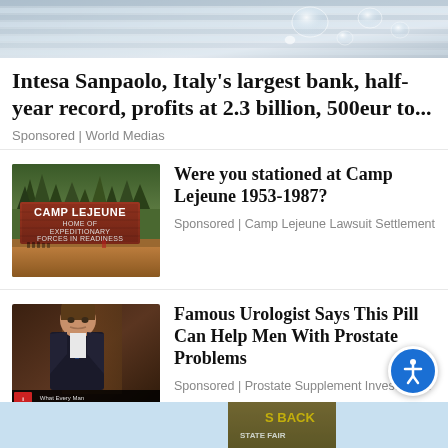[Figure (photo): Top banner photo showing water droplets on a metallic or glass surface, light grey-blue tones]
Intesa Sanpaolo, Italy’s largest bank, half-year record, profits at 2.3 billion, 500eur to...
Sponsored | World Medias
[Figure (photo): Photo of Camp Lejeune entrance sign: CAMP LEJEUNE HOME OF EXPEDITIONARY FORCES IN READINESS, brick sign with trees in background]
Were you stationed at Camp Lejeune 1953-1987?
Sponsored | Camp Lejeune Lawsuit Settlement
[Figure (photo): Photo of a man in a dark suit being interviewed, with a banner at the bottom reading: What Every Man NEEDS to Know About PROSTATE SUPPLEMENTS]
Famous Urologist Says This Pill Can Help Men With Prostate Problems
Sponsored | Prostate Supplement Investigati...
[Figure (photo): Bottom partial image showing green outdoor scene, partially visible, light blue background strip]